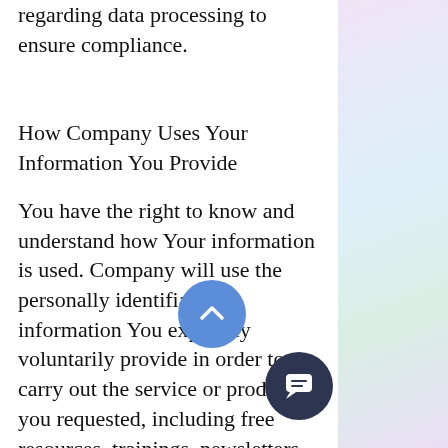regarding data processing to ensure compliance.
How Company Uses Your Information You Provide
You have the right to know and understand how Your information is used. Company will use the personally identifiable information You expressly voluntarily provide in order to carry out the service or product you requested, including free resources, trainings, newsletters, periodic promotional emails, and notify You about any changes to